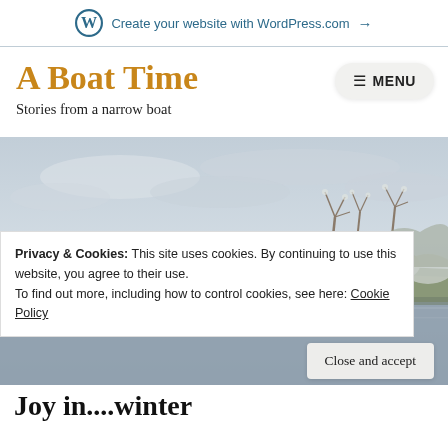Create your website with WordPress.com →
A Boat Time
Stories from a narrow boat
[Figure (photo): Winter landscape photograph showing a frozen canal or river with frost-covered shrubs and bare trees along the bank, under an overcast grey sky.]
Privacy & Cookies: This site uses cookies. By continuing to use this website, you agree to their use.
To find out more, including how to control cookies, see here: Cookie Policy
Close and accept
Joy in....winter